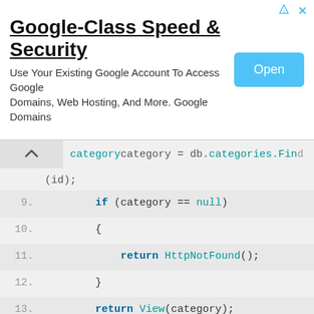[Figure (other): Google Domains advertisement banner with title 'Google-Class Speed & Security', description text, and Open button]
Code snippet showing C# MVC controller methods. Lines 9-22 showing Delete action methods with HttpPost, ActionName, ValidateAntiForgeryToken attributes.